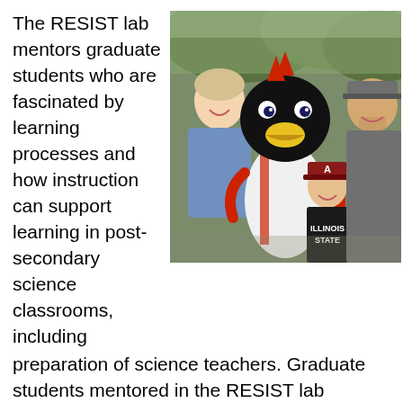The RESIST lab mentors graduate students who are fascinated by learning processes and how instruction can support learning in post-secondary science classrooms, including preparation of science teachers. Graduate students mentored in the RESIST lab conduct educational research that seeks to answer research questions related to the learning of biological processes, mechanisms, and
[Figure (photo): A group photo of three people posing with a cardinal mascot costume outdoors. On the left is a woman smiling, in the center is the cardinal mascot wearing a baseball uniform, in the center-right is a young person wearing an Alabama 'A' cap and an Illinois State t-shirt, and on the right is a man wearing a gray cap and t-shirt.]